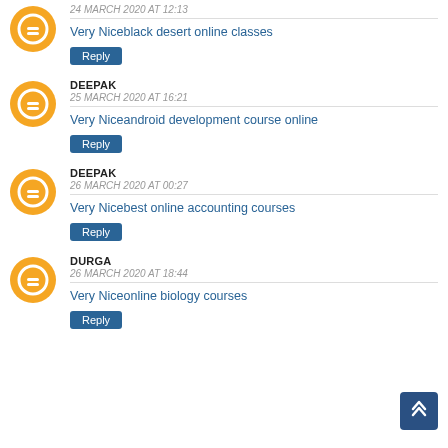24 MARCH 2020 AT 12:13
Very Niceblack desert online classes
Reply
DEEPAK
25 MARCH 2020 AT 16:21
Very Niceandroid development course online
Reply
DEEPAK
26 MARCH 2020 AT 00:27
Very Nicebest online accounting courses
Reply
DURGA
26 MARCH 2020 AT 18:44
Very Niceonline biology courses
Reply